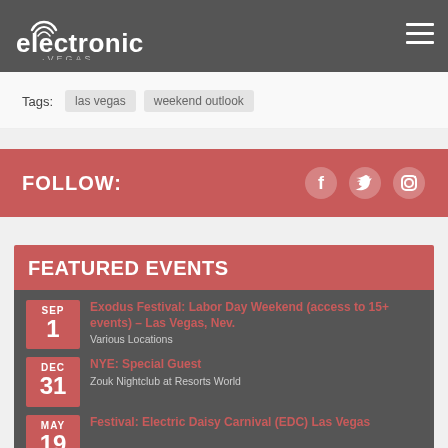electronic.vegas
Tags: las vegas  weekend outlook
FOLLOW:
FEATURED EVENTS
SEP 1 — Exodus Festival: Labor Day Weekend (access to 15+ events) – Las Vegas, Nev. | Various Locations
DEC 31 — NYE: Special Guest | Zouk Nightclub at Resorts World
MAY 19 — Festival: Electric Daisy Carnival (EDC) Las Vegas